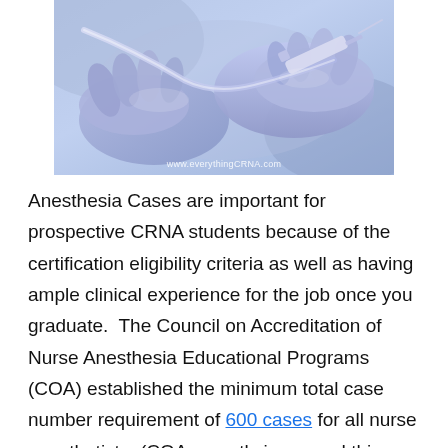[Figure (photo): Close-up photo of gloved hands (blue surgical gloves) handling a syringe/IV line in a medical setting. Watermark reads 'www.everythingCRNA.com'.]
Anesthesia Cases are important for prospective CRNA students because of the certification eligibility criteria as well as having ample clinical experience for the job once you graduate. The Council on Accreditation of Nurse Anesthesia Educational Programs (COA) established the minimum total case number requirement of 600 cases for all nurse anesthetists. (COA recently increased this from 550 cases.) This is an especially important number.
The purpose of CRNA anesthesia cases is so nurse anesthetist students are well trained and confident in